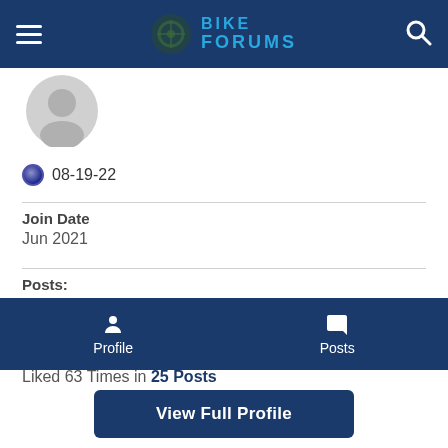Bike Forums
[Figure (photo): Default user avatar circle icon, grey]
08-19-22
Join Date
Jun 2021
Posts:
69
Likes: 0
Liked 63 Times in 25 Posts
Profile
Posts
View Full Profile